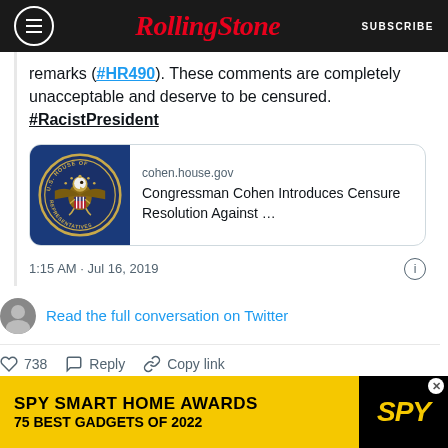Rolling Stone | SUBSCRIBE
remarks (#HR490). These comments are completely unacceptable and deserve to be censured. #RacistPresident
[Figure (screenshot): Link card showing U.S. House of Representatives seal with text: cohen.house.gov | Congressman Cohen Introduces Censure Resolution Against ...]
1:15 AM · Jul 16, 2019
Read the full conversation on Twitter
738  Reply  Copy link
Read 80 replies
[Figure (screenshot): Advertisement banner: SPY SMART HOME AWARDS 75 BEST GADGETS OF 2022 with SPY logo on yellow background]